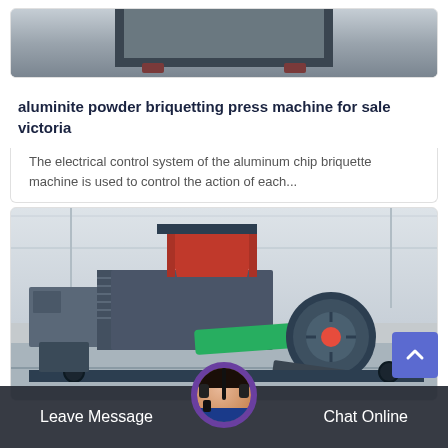[Figure (photo): A dark metal framed briquetting press machine base structure photographed against a light grey floor background]
aluminite powder briquetting press machine for sale victoria
The electrical control system of the aluminum chip briquette machine is used to control the action of each...
[Figure (photo): An industrial briquetting/shredding machine with red hopper top, green frame, large drum roller, photographed in a warehouse/factory setting]
Leave Message   Chat Online